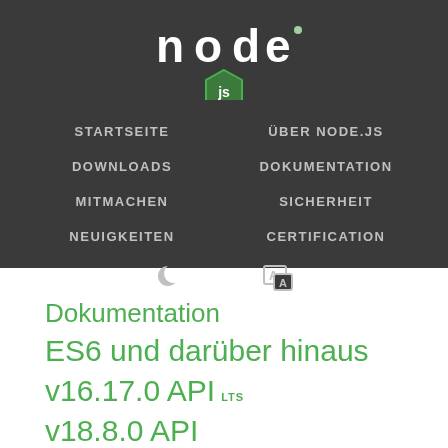[Figure (logo): Node.js logo with green hexagon containing 'js' and stylized 'node' text in white]
STARTSEITE
ÜBER NODE.JS
DOWNLOADS
DOKUMENTATION
MITMACHEN
SICHERHEIT
NEUIGKEITEN
CERTIFICATION
Dokumentation
ES6 und darüber hinaus
v16.17.0 API LTS
v18.8.0 API